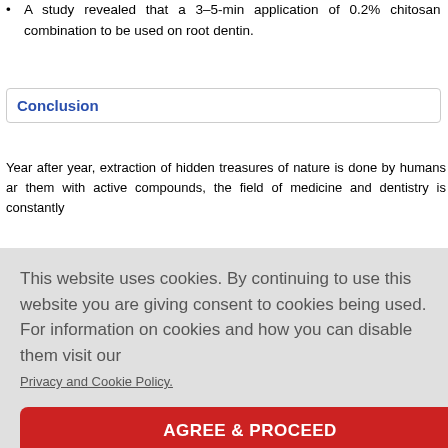A study revealed that a 3–5-min application of 0.2% chitosan is combination to be used on root dentin.
Conclusion
Year after year, extraction of hidden treasures of nature is done by humans and them with active compounds, the field of medicine and dentistry is constantly progress ... terials. Chito ... npatibility, a ... er researche ... ological app
This website uses cookies. By continuing to use this website you are giving consent to cookies being used. For information on cookies and how you can disable them visit our Privacy and Cookie Policy.
There are no conflicts of interest.